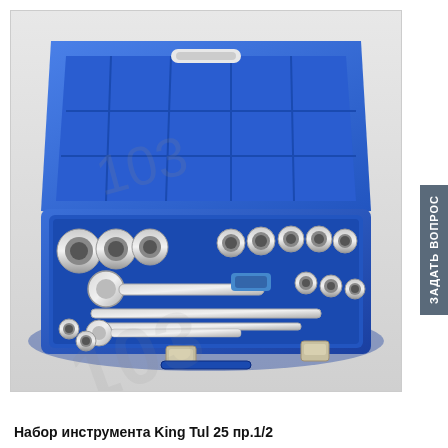[Figure (photo): A blue plastic tool case (open) containing a 25-piece 1/2-inch socket wrench set by King Tul, showing various sockets, ratchet handles, and extension bars arranged in the case. A watermark logo is visible on the image.]
ЗАДАТЬ ВОПРОС
Набор инструмента King Tul 25 пр.1/2